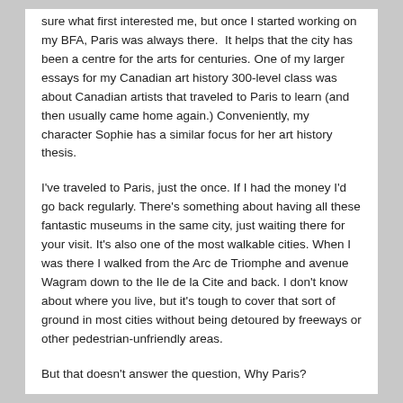sure what first interested me, but once I started working on my BFA, Paris was always there.  It helps that the city has been a centre for the arts for centuries. One of my larger essays for my Canadian art history 300-level class was about Canadian artists that traveled to Paris to learn (and then usually came home again.) Conveniently, my character Sophie has a similar focus for her art history thesis.
I've traveled to Paris, just the once. If I had the money I'd go back regularly. There's something about having all these fantastic museums in the same city, just waiting there for your visit. It's also one of the most walkable cities. When I was there I walked from the Arc de Triomphe and avenue Wagram down to the Ile de la Cite and back. I don't know about where you live, but it's tough to cover that sort of ground in most cities without being detoured by freeways or other pedestrian-unfriendly areas.
But that doesn't answer the question, Why Paris?